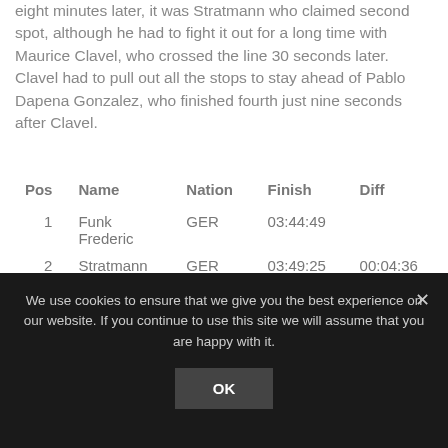eight minutes later, it was Stratmann who claimed second spot, although he had to fight it out for a long time with Maurice Clavel, who crossed the line 30 seconds later. Clavel had to pull out all the stops to stay ahead of Pablo Dapena Gonzalez, who finished fourth just nine seconds after Clavel.
| Pos | Name | Nation | Finish | Diff |
| --- | --- | --- | --- | --- |
| 1 | Funk Frederic | GER | 03:44:49 |  |
| 2 | Stratmann Jan | GER | 03:49:25 | 00:04:36 |
We use cookies to ensure that we give you the best experience on our website. If you continue to use this site we will assume that you are happy with it.